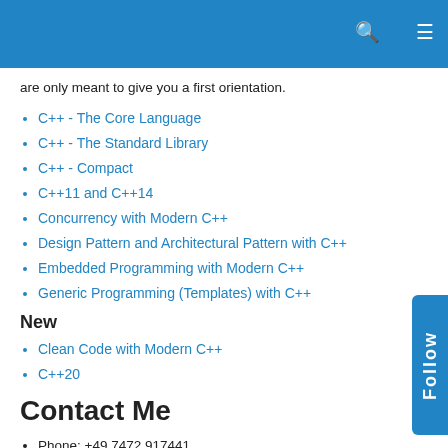are only meant to give you a first orientation.
C++ - The Core Language
C++ - The Standard Library
C++ - Compact
C++11 and C++14
Concurrency with Modern C++
Design Pattern and Architectural Pattern with C++
Embedded Programming with Modern C++
Generic Programming (Templates) with C++
New
Clean Code with Modern C++
C++20
Contact Me
Phone: +49 7472 917441
Mobil:: +49 176 5506 5086
Mail: schulung@ModernesCpp.de
German Seminar Page: www.ModernesCpp.de